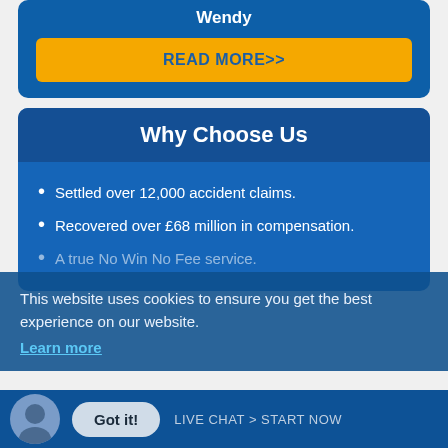Wendy
READ MORE>>
Why Choose Us
Settled over 12,000 accident claims.
Recovered over £68 million in compensation.
A true No Win No Fee service.
This website uses cookies to ensure you get the best experience on our website. Learn more
Got it!